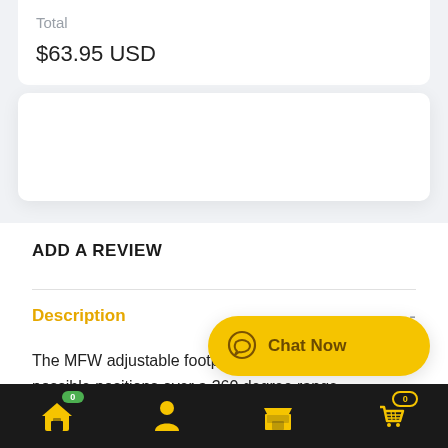Total
$63.95 USD
ADD A REVIEW
Description
The MFW adjustable footpeg system pr… possible positions over a 360 degree range.
[Figure (screenshot): Chat Now floating button, yellow rounded pill shape with chat bubble icon]
[Figure (screenshot): Bottom navigation bar with home, profile, store, and cart icons on black background]